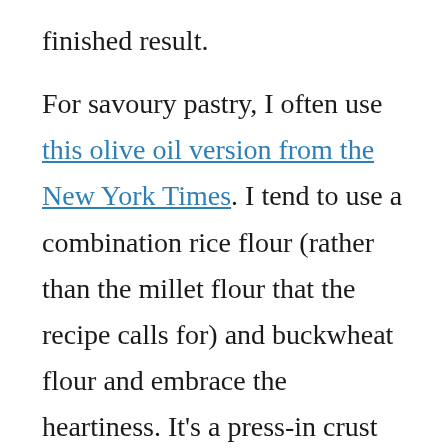finished result.

For savoury pastry, I often use this olive oil version from the New York Times. I tend to use a combination rice flour (rather than the millet flour that the recipe calls for) and buckwheat flour and embrace the heartiness. It's a press-in crust which makes it fairly easy to work with and it can stand up well to robust flavours. I have also used it in an apple tart which I was a little unconvinced about